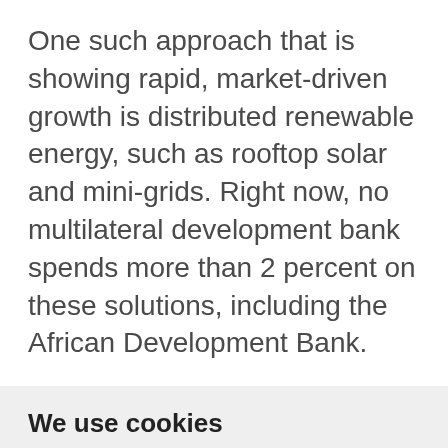One such approach that is showing rapid, market-driven growth is distributed renewable energy, such as rooftop solar and mini-grids. Right now, no multilateral development bank spends more than 2 percent on these solutions, including the African Development Bank.
We use cookies
We use cookies and other tracking technologies to improve your browsing experience on our website, to show you personalized content and targeted ads, to analyze our website traffic, and to understand where our visitors are coming from.